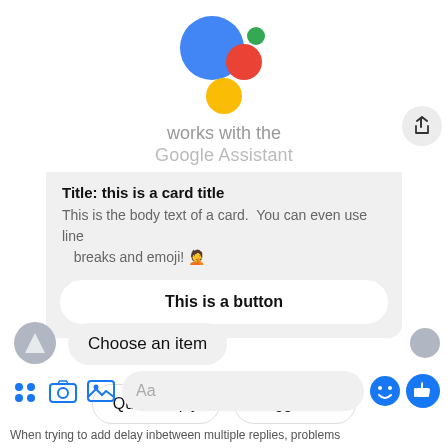[Figure (screenshot): Google Assistant logo (blue, red, green, yellow circles)]
works with the
Google Assistant
Title: this is a card title
This is the body text of a card.  You can even use line
   breaks and emoji! 🤦
This is a button
Choose an item
Quick Reply
Suggestion
When trying to add delay inbetween multiple replies, problems